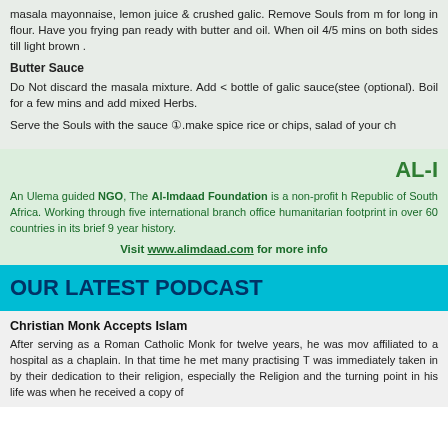masala mayonnaise, lemon juice & crushed galic. Remove Souls from m for long in flour. Have you frying pan ready with butter and oil. When oil 4/5 mins on both sides till light brown .
Butter Sauce
Do Not discard the masala mixture. Add < bottle of galic sauce(stee (optional). Boil for a few mins and add mixed Herbs.
Serve the Souls with the sauce ①.make spice rice or chips, salad of your ch
AL-I
An Ulema guided NGO, The Al-Imdaad Foundation is a non-profit h Republic of South Africa. Working through five international branch office humanitarian footprint in over 60 countries in its brief 9 year history.
Visit www.alimdaad.com for more info
OUR LATEST PODCAST
Christian Monk Accepts Islam
After serving as a Roman Catholic Monk for twelve years, he was mov affiliated to a hospital as a chaplain. In that time he met many practising T was immediately taken in by their dedication to their religion, especially the Religion and the turning point in his life was when he received a copy of